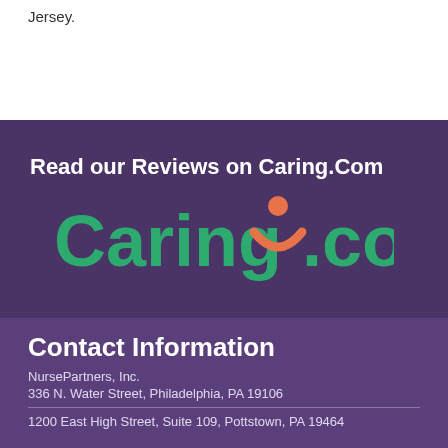Jersey.
[Figure (logo): Caring.com logo with tagline 'Read our Reviews on Caring.Com'. Green text logo with orange figure graphic between words.]
Contact Information
NursePartners, Inc.
336 N. Water Street, Philadelphia, PA 19106
1200 East High Street, Suite 109, Pottstown, PA 19464